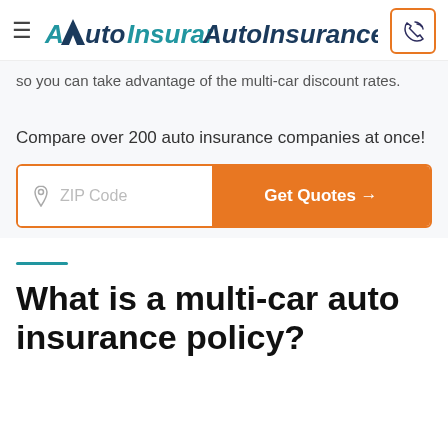AutoInsuranceQuote
so you can take advantage of the multi-car discount rates.
Compare over 200 auto insurance companies at once!
[Figure (other): ZIP Code input field with orange Get Quotes button]
What is a multi-car auto insurance policy?